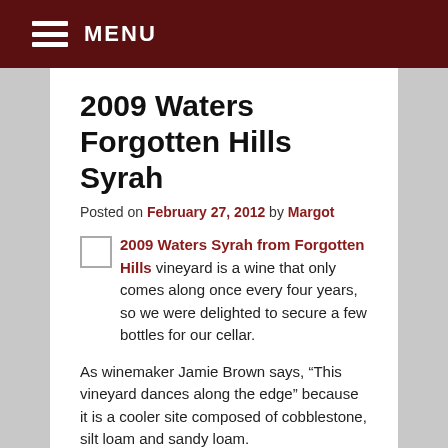MENU
2009 Waters Forgotten Hills Syrah
Posted on February 27, 2012 by Margot
2009 Waters Syrah from Forgotten Hills vineyard is a wine that only comes along once every four years, so we were delighted to secure a few bottles for our cellar.
As winemaker Jamie Brown says, “This vineyard dances along the edge” because it is a cooler site composed of cobblestone, silt loam and sandy loam.
In the cool-climate years, the Syrah can’t get ripe enough. That’s why this exquisite wine was not produced in 2008, 2010 or 2011. And that’s one reason why we think it’s special.